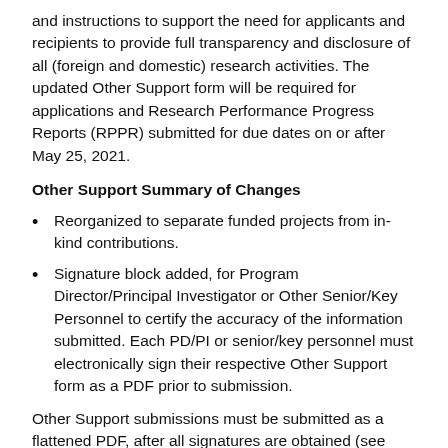and instructions to support the need for applicants and recipients to provide full transparency and disclosure of all (foreign and domestic) research activities. The updated Other Support form will be required for applications and Research Performance Progress Reports (RPPR) submitted for due dates on or after May 25, 2021.
Other Support Summary of Changes
Reorganized to separate funded projects from in-kind contributions.
Signature block added, for Program Director/Principal Investigator or Other Senior/Key Personnel to certify the accuracy of the information submitted. Each PD/PI or senior/key personnel must electronically sign their respective Other Support form as a PDF prior to submission.
Other Support submissions must be submitted as a flattened PDF, after all signatures are obtained (see Format Attachments for more details). Recipients and applicants may use the electronic signature software of their choice.